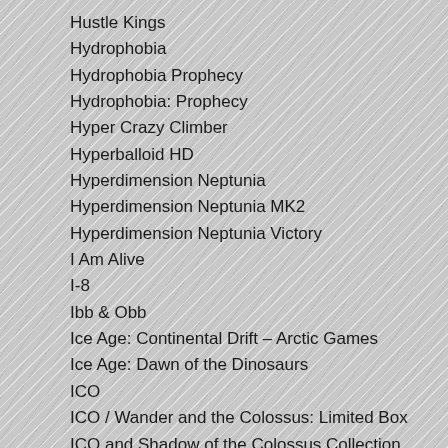Hustle Kings
Hydrophobia
Hydrophobia Prophecy
Hydrophobia: Prophecy
Hyper Crazy Climber
Hyperballoid HD
Hyperdimension Neptunia
Hyperdimension Neptunia MK2
Hyperdimension Neptunia Victory
I Am Alive
I-8
Ibb & Obb
Ice Age: Continental Drift – Arctic Games
Ice Age: Dawn of the Dinosaurs
ICO
ICO / Wander and the Colossus: Limited Box
ICO and Shadow of the Colossus Collection
Ide Yōsuke no Mahjong Kyōshitsu
IHF Handball Challenge 14
Ikari III: The Rescue
Ikari Warriors
Ikari Warriors II: Victory Road
IL-2 Sturmovik: Birds of Prey
Impossible Mission
In Space We Brawl